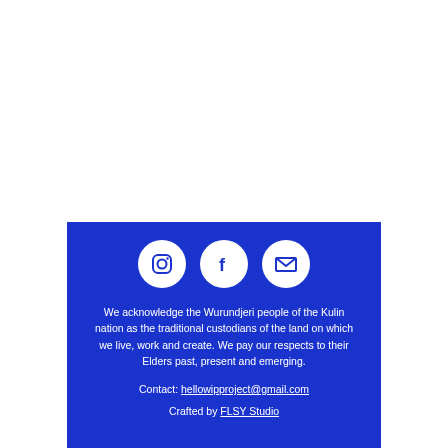[Figure (illustration): Three white circular icons on blue background: Instagram camera icon, Facebook 'f' icon, and envelope/email icon]
We acknowledge the Wurundjeri people of the Kulin nation as the traditional custodians of the land on which we live, work and create. We pay our respects to their Elders past, present and emerging.
Contact: hellowipproject@gmail.com
Crafted by FLSY Studio